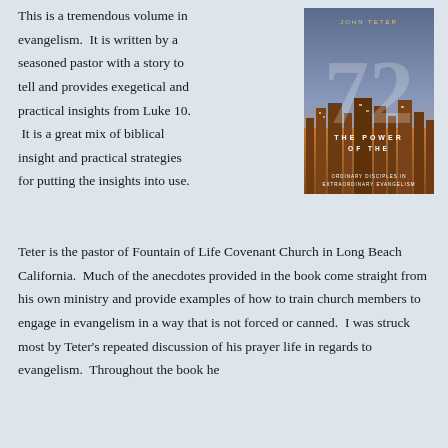This is a tremendous volume in evangelism. It is written by a seasoned pastor with a story to tell and provides exegetical and practical insights from Luke 10. It is a great mix of biblical insight and practical strategies for putting the insights into use.
[Figure (photo): Book cover: 'The Power of the 72 - Ordinary Disciples in Extraordinary Evangelism' by John Teter. Large stylized number 72 overlaid on a city skyline background.]
Teter is the pastor of Fountain of Life Covenant Church in Long Beach California. Much of the anecdotes provided in the book come straight from his own ministry and provide examples of how to train church members to engage in evangelism in a way that is not forced or canned. I was struck most by Teter's repeated discussion of his prayer life in regards to evangelism. Throughout the book he